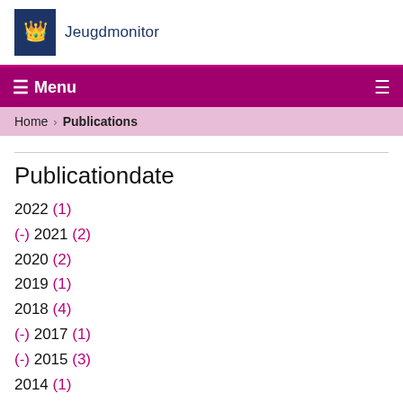Jeugdmonitor
☰ Menu
Home › Publications
Publicationdate
2022 (1)
(-) 2021 (2)
2020 (2)
2019 (1)
2018 (4)
(-) 2017 (1)
(-) 2015 (3)
2014 (1)
2011 (1)
2009 (1)